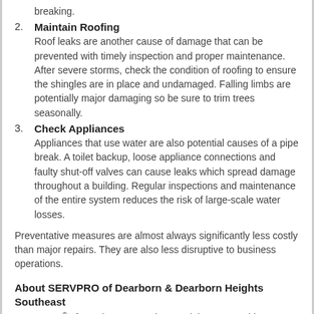breaking.
Maintain Roofing
Roof leaks are another cause of damage that can be prevented with timely inspection and proper maintenance. After severe storms, check the condition of roofing to ensure the shingles are in place and undamaged. Falling limbs are potentially major damaging so be sure to trim trees seasonally.
Check Appliances
Appliances that use water are also potential causes of a pipe break. A toilet backup, loose appliance connections and faulty shut-off valves can cause leaks which spread damage throughout a building. Regular inspections and maintenance of the entire system reduces the risk of large-scale water losses.
Preventative measures are almost always significantly less costly than major repairs. They are also less disruptive to business operations.
About SERVPRO of Dearborn & Dearborn Heights Southeast
SERVPRO® of Dearborn & Dearborn Heights SE provides 24-hour disaster mitigation services. We speciali...